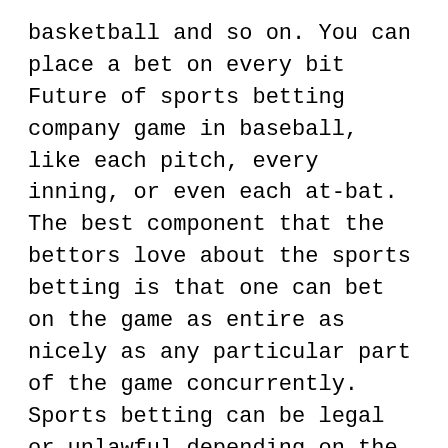basketball and so on. You can place a bet on every bit Future of sports betting company game in baseball, like each pitch, every inning, or even each at-bat. The best component that the bettors love about the sports betting is that one can bet on the game as entire as nicely as any particular part of the game concurrently. Sports betting can be legal or unlawful depending on the country you live in. You might know it effortlessly just by examining the lawsuit of your nation. If it is legal in your country you should definitely give it a attempt at least as soon as.
Do your homework. If you are determined to get, then you may not want to just adhere with your preferred team or participant. If you are putting your money at stake, you might want to see the whole situation objectively and begin researching on the groups and levels as well as their past information, their previous matches and their situation. If you